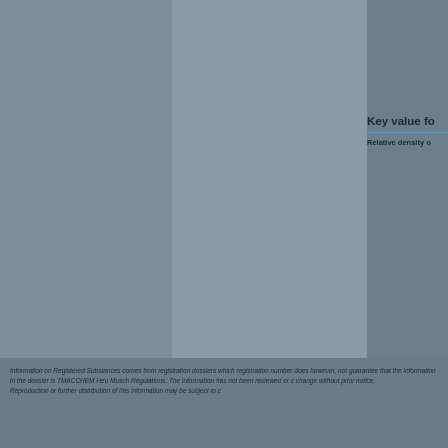Key value fo
Relative density o
Additional in
The density of th 1
Information on Registered Substances comes from registration dossiers which registration number does however, not guarantee that the information in the dossier is TMACCHEM Heu Musch Regulations. The information has not been reviewed or c change without prior notice.
Reproduction or further distribution of this information may be subject to c